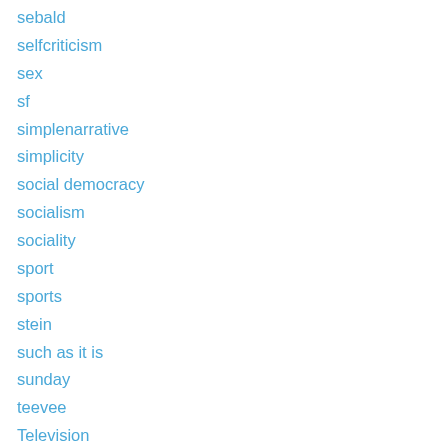sebald
selfcriticism
sex
sf
simplenarrative
simplicity
social democracy
socialism
sociality
sport
sports
stein
such as it is
sunday
teevee
Television
temporality
the left
theory
therapy